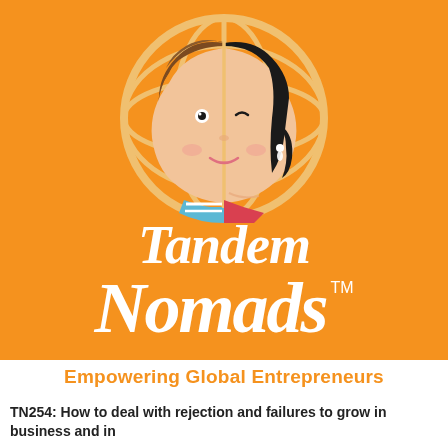[Figure (logo): Tandem Nomads podcast logo on orange background. Shows a globe with a split face illustration (half boy with brown hair, half girl with black hair and earring) centered inside the globe. Below the globe: italic text 'Tandem' on one line, then 'Nomads' with TM superscript in large white italic serif font.]
Empowering Global Entrepreneurs
TN254: How to deal with rejection and failures to grow in business and in